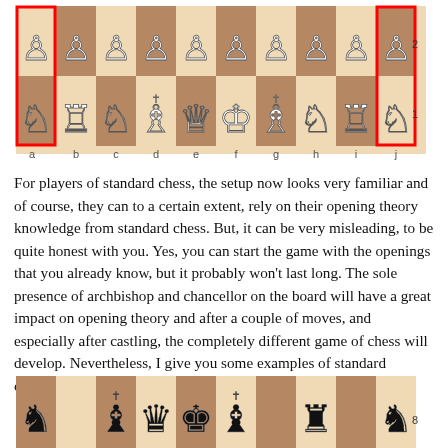[Figure (illustration): Capablanca chess starting position showing a 10x2 board with white pieces on ranks 1 and 2. Red rectangles highlight the corner squares (a1, a2, j1, j2). Pieces from left to right on rank 1: Knight, Rook, Knight, Bishop, Queen, King, Archbishop, Knight, Rook, Knight. Rank 2 shows all pawns. Column labels a through j are shown below.]
For players of standard chess, the setup now looks very familiar and of course, they can to a certain extent, rely on their opening theory knowledge from standard chess. But, it can be very misleading, to be quite honest with you. Yes, you can start the game with the openings that you already know, but it probably won't last long. The sole presence of archbishop and chancellor on the board will have a great impact on opening theory and after a couple of moves, and especially after castling, the completely different game of chess will develop. Nevertheless, I give you some examples of standard openings played with this setup of Capablanca chess.
[Figure (illustration): Partial view of a Capablanca chess board showing black pieces on the bottom rank, partially cropped at the bottom of the page.]